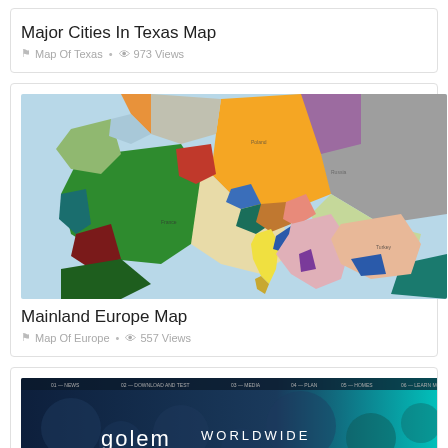Major Cities In Texas Map
Map Of Texas  •  973 Views
[Figure (map): Colorful political map of Mainland Europe showing countries in different colors including green, red, yellow, teal, blue, purple, orange, pink, and brown.]
Mainland Europe Map
Map Of Europe  •  557 Views
[Figure (screenshot): Golem Worldwide Supercomputer website screenshot with dark blue to teal gradient background and bubbles/circles design.]